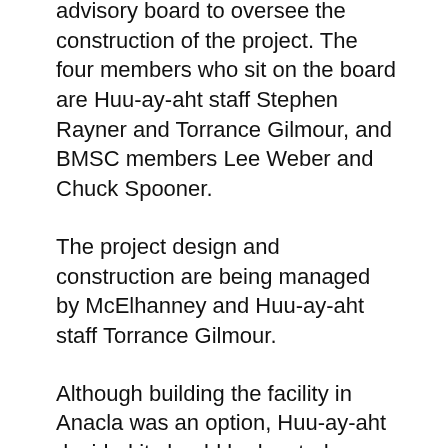advisory board to oversee the construction of the project. The four members who sit on the board are Huu-ay-aht staff Stephen Rayner and Torrance Gilmour, and BMSC members Lee Weber and Chuck Spooner.
The project design and construction are being managed by McElhanney and Huu-ay-aht staff Torrance Gilmour.
Although building the facility in Anacla was an option, Huu-ay-aht decided it should be located on a site that would benefit both parties – connecting BMSC, the Bamfield Community School, and Upper Anacla to the system.
“Huu-ay-aht First Nations and BMSC have worked closely together on the collaborative development of this modern wastewater treatment system,” said